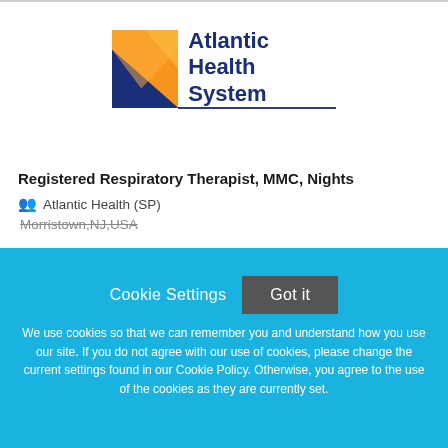[Figure (logo): Atlantic Health System logo with orange and dark blue angular graphic and blue text]
Registered Respiratory Therapist, MMC, Nights
Atlantic Health (SP)
Morristown,NJ,USA
Cookie Settings
Got it
We use cookies so that we can remember you and understand how you use our site. If you do not agree with our use of cookies, please change the current settings found in our Cookie Policy. Otherwise, you agree to the use of the cookies as they are currently set.